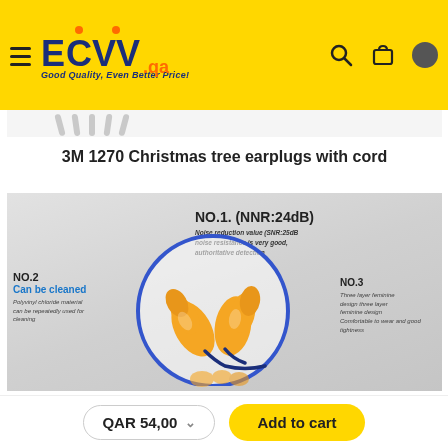[Figure (logo): ECVV.qa logo with yellow background, hamburger menu, search and cart icons]
[Figure (photo): Product listing page showing 3M 1270 Christmas tree earplugs with cord, orange earplugs with blue cord in a circle illustration, with NO.1 (NNR:24dB), NO.2 Can be cleaned, NO.3 Three layer feminine design labels]
3M 1270 Christmas tree earplugs with cord
NO.1. (NNR:24dB)
Noise reduction value (SNR:25dB noise resistance is very good, authoritative detection
NO.2
Can be cleaned
Polyvinyl chloride material can be repeatedly used for cleaning
NO.3
Three layer feminine design three layer feminine design Comfortable to wear and good tightness
QAR 54,00
Add to cart